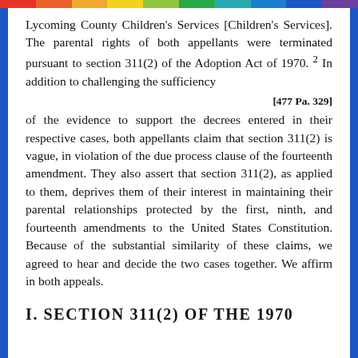Lycoming County Children's Services [Children's Services]. The parental rights of both appellants were terminated pursuant to section 311(2) of the Adoption Act of 1970. 2 In addition to challenging the sufficiency
[477 Pa. 329]
of the evidence to support the decrees entered in their respective cases, both appellants claim that section 311(2) is vague, in violation of the due process clause of the fourteenth amendment. They also assert that section 311(2), as applied to them, deprives them of their interest in maintaining their parental relationships protected by the first, ninth, and fourteenth amendments to the United States Constitution. Because of the substantial similarity of these claims, we agreed to hear and decide the two cases together. We affirm in both appeals.
I. SECTION 311(2) OF THE 1970